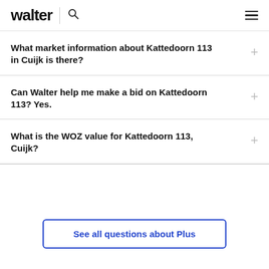walter
What market information about Kattedoorn 113 in Cuijk is there?
Can Walter help me make a bid on Kattedoorn 113? Yes.
What is the WOZ value for Kattedoorn 113, Cuijk?
See all questions about Plus